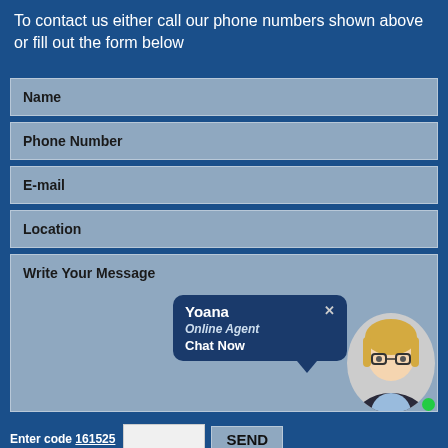To contact us either call our phone numbers shown above or fill out the form below
[Figure (screenshot): Contact form with fields: Name, Phone Number, E-mail, Location, Write Your Message, plus a chat widget showing Yoana - Online Agent - Chat Now, a female agent photo, a green online dot, an enter code field with code 161525, and a SEND button.]